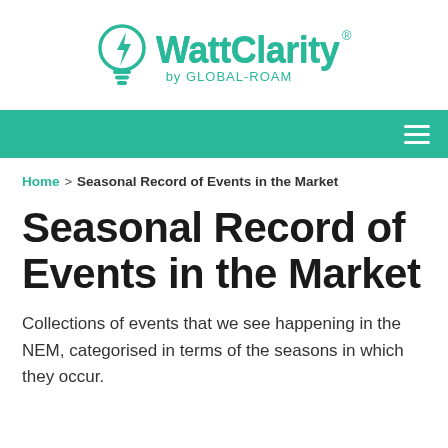[Figure (logo): WattClarity by GLOBAL-ROAM logo with lightbulb icon containing a lightning bolt, in teal/green color]
[Figure (other): Teal navigation bar with hamburger menu icon on the right]
Home > Seasonal Record of Events in the Market
Seasonal Record of Events in the Market
Collections of events that we see happening in the NEM, categorised in terms of the seasons in which they occur.